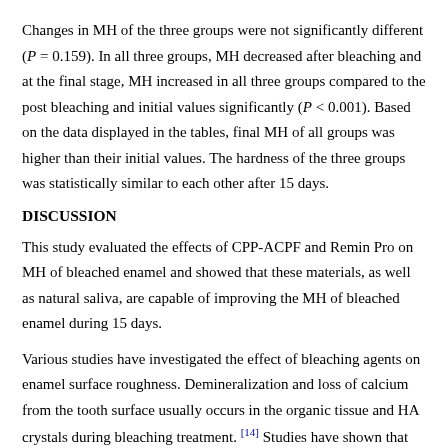Changes in MH of the three groups were not significantly different (P = 0.159). In all three groups, MH decreased after bleaching and at the final stage, MH increased in all three groups compared to the post bleaching and initial values significantly (P < 0.001). Based on the data displayed in the tables, final MH of all groups was higher than their initial values. The hardness of the three groups was statistically similar to each other after 15 days.
DISCUSSION
This study evaluated the effects of CPP-ACPF and Remin Pro on MH of bleached enamel and showed that these materials, as well as natural saliva, are capable of improving the MH of bleached enamel during 15 days.
Various studies have investigated the effect of bleaching agents on enamel surface roughness. Demineralization and loss of calcium from the tooth surface usually occurs in the organic tissue and HA crystals during bleaching treatment. [14] Studies have shown that the effects of bleaching agents depend on their composition, concentration, exposure time, and acidity. [16],[17],[18] In this study, Pola Office bleaching agent containing 35% hydrogen peroxide at a pH of 4.2 was used during the bleaching and the composition and the study